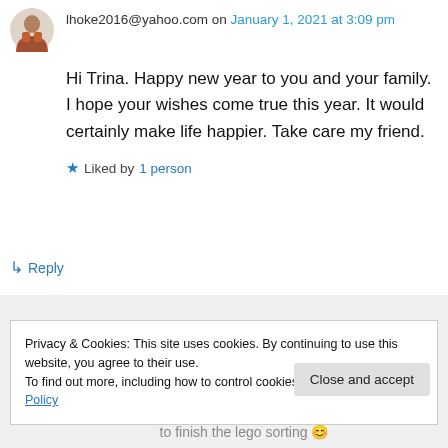lhoke2016@yahoo.com on January 1, 2021 at 3:09 pm
Hi Trina. Happy new year to you and your family. I hope your wishes come true this year. It would certainly make life happier. Take care my friend.
★ Liked by 1 person
↳ Reply
Privacy & Cookies: This site uses cookies. By continuing to use this website, you agree to their use.
To find out more, including how to control cookies, see here: Cookie Policy
Close and accept
to finish the lego sorting 😊